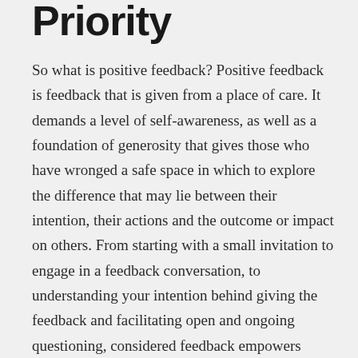Priority
So what is positive feedback? Positive feedback is feedback that is given from a place of care. It demands a level of self-awareness, as well as a foundation of generosity that gives those who have wronged a safe space in which to explore the difference that may lie between their intention, their actions and the outcome or impact on others. From starting with a small invitation to engage in a feedback conversation, to understanding your intention behind giving the feedback and facilitating open and ongoing questioning, considered feedback empowers people with your presence and care, and fuels collaborative evolution and shared learning.
Negative feedback cultures, by contrast, demand less self-awareness and aren't rooted in kindness. They can